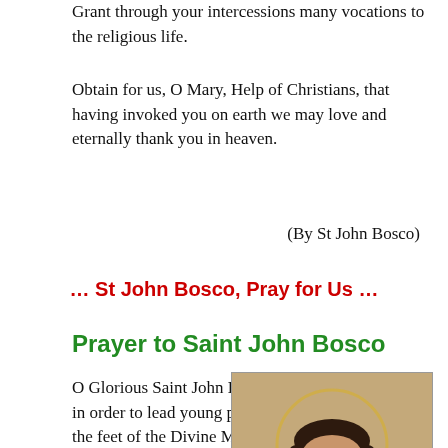Grant through your intercessions many vocations to the religious life.
Obtain for us, O Mary, Help of Christians, that having invoked you on earth we may love and eternally thank you in heaven.
(By St John Bosco)
... St John Bosco, Pray for Us ...
Prayer to Saint John Bosco
O Glorious Saint John Bosco, who in order to lead young people to the feet of the Divine Master and to mould them in the light of faith and Christian morality
[Figure (photo): Portrait painting of Saint John Bosco, showing him in clerical black attire with a halo rendered in gold, facing slightly left, with a calm and serious expression.]